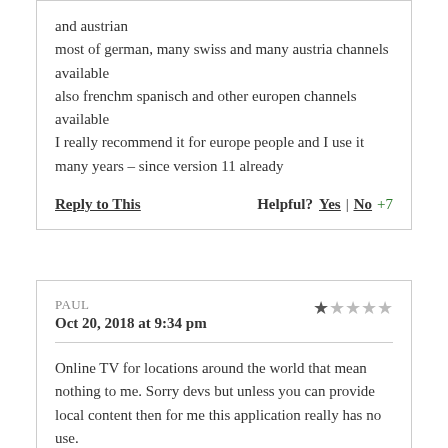and austrian
most of german, many swiss and many austria channels available
also frenchm spanisch and other europen channels available
I really recommend it for europe people and I use it many years – since version 11 already
Reply to This    Helpful? Yes | No +7
PAUL
Oct 20, 2018 at 9:34 pm
Online TV for locations around the world that mean nothing to me. Sorry devs but unless you can provide local content then for me this application really has no use.